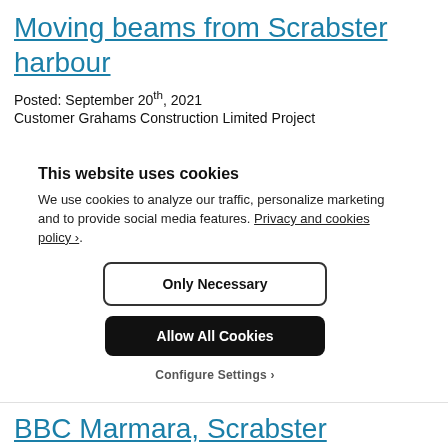Moving beams from Scrabster harbour
Posted: September 20th, 2021
Customer Grahams Construction Limited Project
This website uses cookies
We use cookies to analyze our traffic, personalize marketing and to provide social media features. Privacy and cookies policy ›.
Only Necessary
Allow All Cookies
Configure Settings ›
BBC Marmara, Scrabster